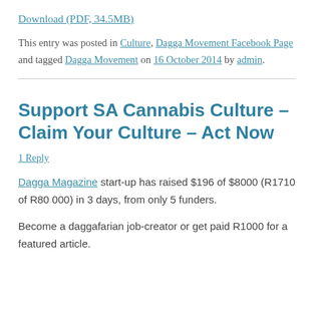Download (PDF, 34.5MB)
This entry was posted in Culture, Dagga Movement Facebook Page and tagged Dagga Movement on 16 October 2014 by admin.
Support SA Cannabis Culture – Claim Your Culture – Act Now
1 Reply
Dagga Magazine start-up has raised $196 of $8000 (R1710 of R80 000) in 3 days, from only 5 funders.
Become a daggafarian job-creator or get paid R1000 for a featured article.